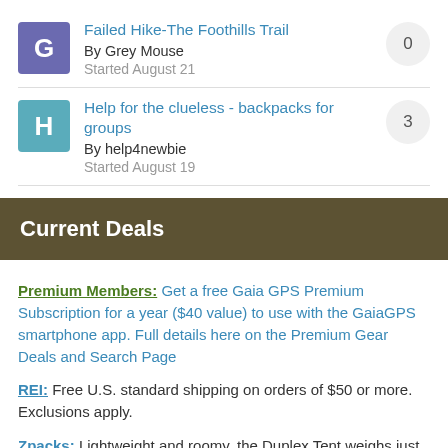Failed Hike-The Foothills Trail
By Grey Mouse
Started August 21
[replies: 0]
Help for the clueless - backpacks for groups
By help4newbie
Started August 19
[replies: 3]
Current Deals
Premium Members: Get a free Gaia GPS Premium Subscription for a year ($40 value) to use with the GaiaGPS smartphone app. Full details here on the Premium Gear Deals and Search Page
REI: Free U.S. standard shipping on orders of $50 or more. Exclusions apply.
Zpacks: Lightweight and roomy, the Duplex Tent weighs just 19 ounces and sleeps two people with two doors and two